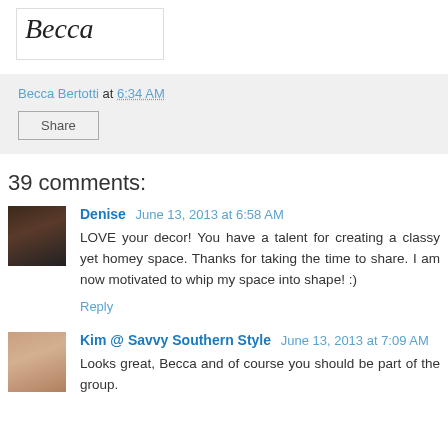[Figure (illustration): Signature reading 'Becca' in cursive script inside a bordered white box]
Becca Bertotti at 6:34 AM
Share
39 comments:
[Figure (photo): Avatar photo of Denise, dark toned image]
Denise June 13, 2013 at 6:58 AM
LOVE your decor! You have a talent for creating a classy yet homey space. Thanks for taking the time to share. I am now motivated to whip my space into shape! :)
Reply
[Figure (photo): Avatar photo of Kim, warm toned image]
Kim @ Savvy Southern Style June 13, 2013 at 7:09 AM
Looks great, Becca and of course you should be part of the group.